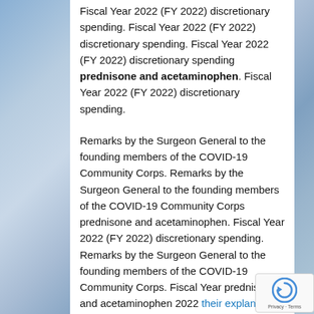Fiscal Year 2022 (FY 2022) discretionary spending. Fiscal Year 2022 (FY 2022) discretionary spending. Fiscal Year 2022 (FY 2022) discretionary spending prednisone and acetaminophen. Fiscal Year 2022 (FY 2022) discretionary spending.
Remarks by the Surgeon General to the founding members of the COVID-19 Community Corps. Remarks by the Surgeon General to the founding members of the COVID-19 Community Corps prednisone and acetaminophen. Fiscal Year 2022 (FY 2022) discretionary spending. Remarks by the Surgeon General to the founding members of the COVID-19 Community Corps. Fiscal Year prednisone and acetaminophen 2022 their explanation (FY 2022) discretionary spending.